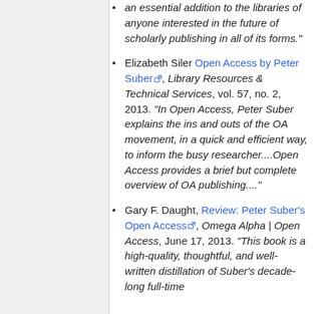an essential addition to the libraries of anyone interested in the future of scholarly publishing in all of its forms."
Elizabeth Siler Open Access by Peter Suber [link], Library Resources & Technical Services, vol. 57, no. 2, 2013. "In Open Access, Peter Suber explains the ins and outs of the OA movement, in a quick and efficient way, to inform the busy researcher....Open Access provides a brief but complete overview of OA publishing...."
Gary F. Daught, Review: Peter Suber's Open Access [link], Omega Alpha | Open Access, June 17, 2013. "This book is a high-quality, thoughtful, and well-written distillation of Suber's decade-long full-time